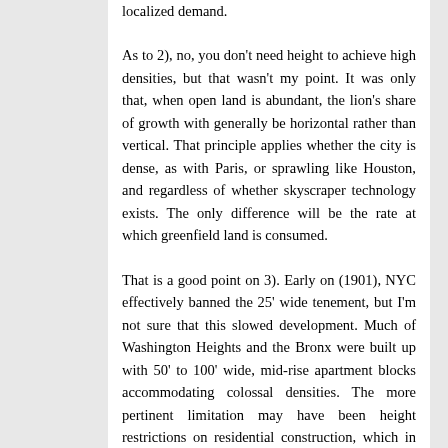localized demand.
As to 2), no, you don't need height to achieve high densities, but that wasn't my point. It was only that, when open land is abundant, the lion's share of growth with generally be horizontal rather than vertical. That principle applies whether the city is dense, as with Paris, or sprawling like Houston, and regardless of whether skyscraper technology exists. The only difference will be the rate at which greenfield land is consumed.
That is a good point on 3). Early on (1901), NYC effectively banned the 25' wide tenement, but I'm not sure that this slowed development. Much of Washington Heights and the Bronx were built up with 50' to 100' wide, mid-rise apartment blocks accommodating colossal densities. The more pertinent limitation may have been height restrictions on residential construction, which in many cases were not lifted until the 1961 zoning